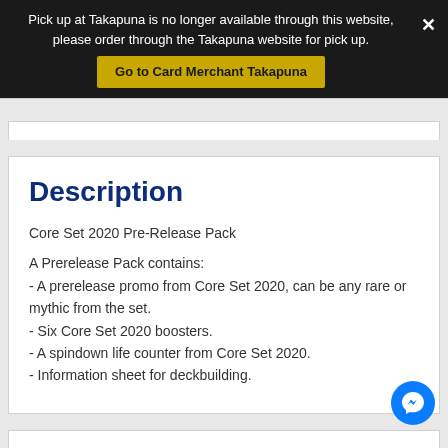Pick up at Takapuna is no longer available through this website, please order through the Takapuna website for pick up. Go to Card Merchant Takapuna
Description
Core Set 2020 Pre-Release Pack
A Prerelease Pack contains:
- A prerelease promo from Core Set 2020, can be any rare or mythic from the set.
- Six Core Set 2020 boosters.
- A spindown life counter from Core Set 2020.
- Information sheet for deckbuilding.
Payment & Security